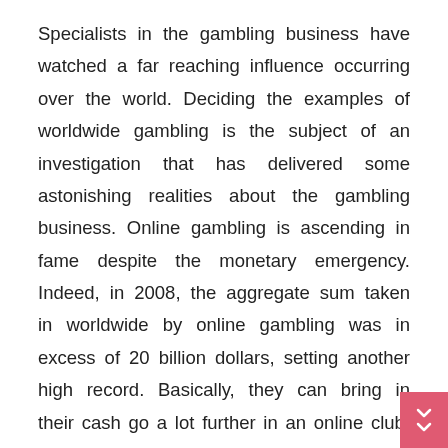Specialists in the gambling business have watched a far reaching influence occurring over the world. Deciding the examples of worldwide gambling is the subject of an investigation that has delivered some astonishing realities about the gambling business. Online gambling is ascending in fame despite the monetary emergency. Indeed, in 2008, the aggregate sum taken in worldwide by online gambling was in excess of 20 billion dollars, setting another high record. Basically, they can bring in their cash go a lot further in an online club. As referenced above, individuals simply would prefer not to leave behind their money for airfare or for some other type of transportation so as to get to the club. They are utilizing that cash to go to [REDACTED] club, and having